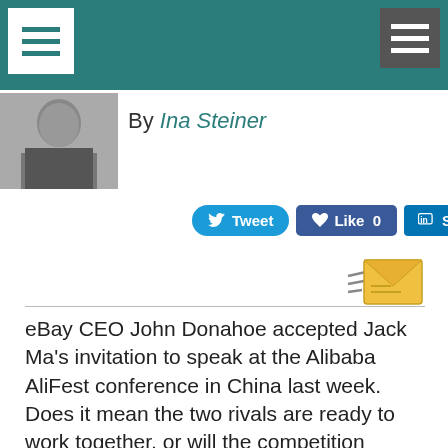By Ina Steiner
[Figure (photo): Black and white portrait photo of Ina Steiner]
Tweet  Like 0  Share
eBay CEO John Donahoe accepted Jack Ma's invitation to speak at the Alibaba AliFest conference in China last week. Does it mean the two rivals are ready to work together, or will the competition intensify? AuctionBytes asked Helen Wang, an expert on China affairs, for her thoughts on last week's events and what it may portend for the future.